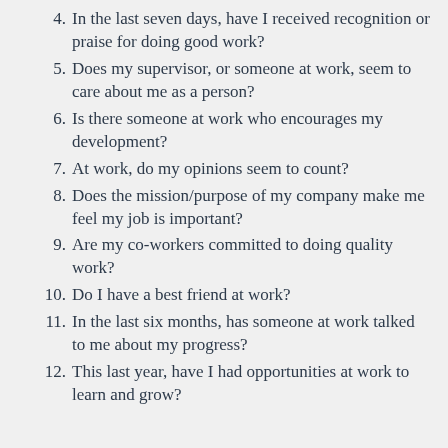4. In the last seven days, have I received recognition or praise for doing good work?
5. Does my supervisor, or someone at work, seem to care about me as a person?
6. Is there someone at work who encourages my development?
7. At work, do my opinions seem to count?
8. Does the mission/purpose of my company make me feel my job is important?
9. Are my co-workers committed to doing quality work?
10. Do I have a best friend at work?
11. In the last six months, has someone at work talked to me about my progress?
12. This last year, have I had opportunities at work to learn and grow?